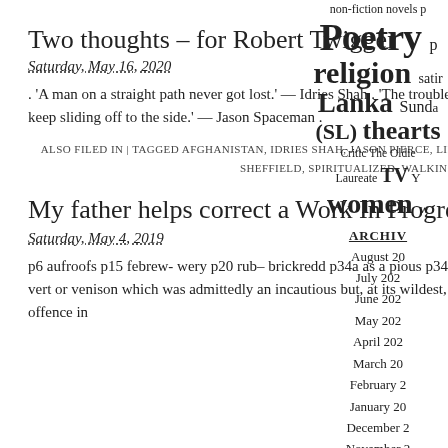Two thoughts – for Robert Twigger
Saturday, May 16, 2020
. 'A man on a straight path never got lost.' — Idries Shah . 'The trouble with the straight and the narrow ..Is it's so thin, I keep sliding off to the side.' — Jason Spaceman .
ALSO FILED IN | TAGGED AFGHANISTAN, IDRIES SHAH, JASON PIERCE, LIFE, LYRICS, PHILOSOPHY, POETRY, ROBERT TWIGGER, SHEFFIELD, SPIRITUALIZED, WALKING | COMMENTS (0)
My father helps correct a Work In Progress
Saturday, May 4, 2019
p6 aufroofs p15 febrew- wery p20 rub– brickredd p34a as a pious p34b ing the intimate nature of this, a first offence in vert or venison which was admittedly an incautious but, at its wildest, a partial ex- ing the intimate nature of this, a first offence in
non-fiction novels Poetry religion satire Lanka Sunday (SL) thearts Critic The Oldie Laureate TV women
ARCHIVES
August 20
July 202
June 202
May 202
April 202
March 20
February 2
January 20
December 2
November 2
October 20
September 2
August 20